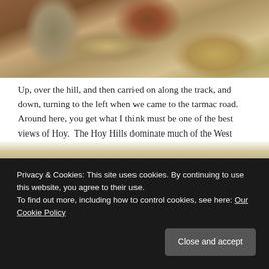[Figure (photo): Close-up photo of an animal (likely a highland cow or similar) showing brown fur/hide and surrounding grass/hay in golden tones]
Up, over the hill, and then carried on along the track, and down, turning to the left when we came to the tarmac road.  Around here, you get what I think must be one of the best views of Hoy.  The Hoy Hills dominate much of the West Mainland, mostly seen as two, big, magic mountains – looming – ' Hoy's Dark and Lofty Isle' – that's a tune.
The view you get from this part of this walk, above Warbeth, shows a more gentle, greener aspect of Hoy – it's more than just the big,
Privacy & Cookies: This site uses cookies. By continuing to use this website, you agree to their use.
To find out more, including how to control cookies, see here: Our Cookie Policy
Close and accept